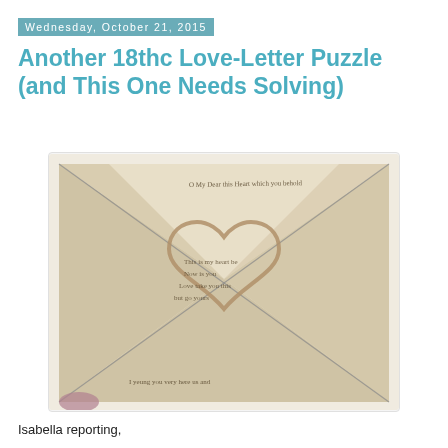Wednesday, October 21, 2015
Another 18thc Love-Letter Puzzle (and This One Needs Solving)
[Figure (photo): An 18th century folded love letter puzzle, folded into a square envelope shape with diagonal fold lines crossing the front. A large hand-drawn heart shape is visible on the front face, and cursive handwriting covers the paper in multiple directions. The paper is aged/yellowed and a purple/pink object is partially visible at the bottom corner.]
Isabella reporting,